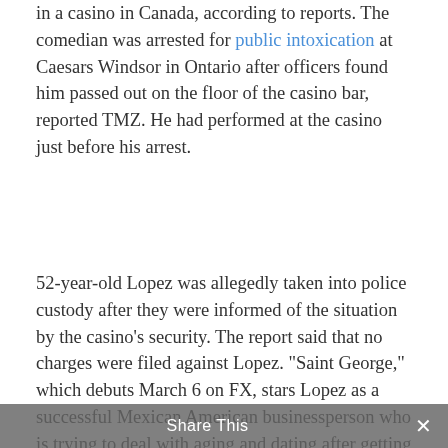in a casino in Canada, according to reports. The comedian was arrested for public intoxication at Caesars Windsor in Ontario after officers found him passed out on the floor of the casino bar, reported TMZ. He had performed at the casino just before his arrest.
52-year-old Lopez was allegedly taken into police custody after they were informed of the situation by the casino's security. The report said that no charges were filed against Lopez. "Saint George," which debuts March 6 on FX, stars Lopez as a successful Mexican American businessperson who is trying to deal with aging and dating after getting divorced from his "all-American" Anglo wife.
George Lopez says revenge is a dish best served drunk … or at least something like that. Just one day after getting arrested for public intoxication at Caesars Windsor, Lopez took the stage and openly spoke about his arrest. The comedian opened the sho— "I just did in Windsor, what Justin Bieber has in America" he told...
Share This